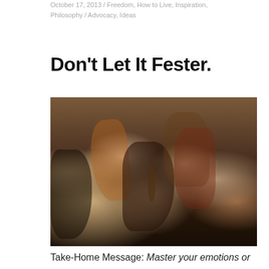October 17, 2013 / Freedom, How to Live, Inspiration, Philosophy / Advocacy, Ideas
Don't Let It Fester.
[Figure (photo): Group of elderly Buddhist monks seated cross-legged in meditation robes of orange, dark brown, and maroon colors. One monk in the center foreground wears black robes and holds prayer beads.]
Take-Home Message: Master your emotions or